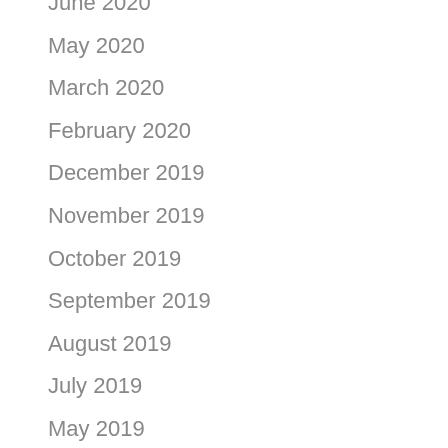June 2020
May 2020
March 2020
February 2020
December 2019
November 2019
October 2019
September 2019
August 2019
July 2019
May 2019
April 2019
March 2019
February 2019
January 2019